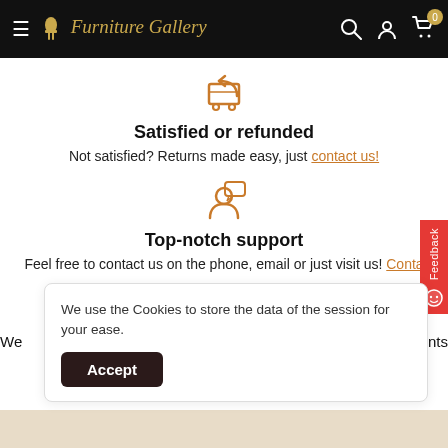Furniture Gallery — navigation header with hamburger menu, logo, search, account, and cart icons
[Figure (illustration): Orange shopping cart with return arrow icon]
Satisfied or refunded
Not satisfied? Returns made easy, just contact us!
[Figure (illustration): Orange person with speech bubble icon]
Top-notch support
Feel free to contact us on the phone, email or just visit us! Conta…
[Figure (illustration): Orange secure payment / card with lock icon]
Secure payments
We use the Cookies to store the data of the session for your ease.
Accept